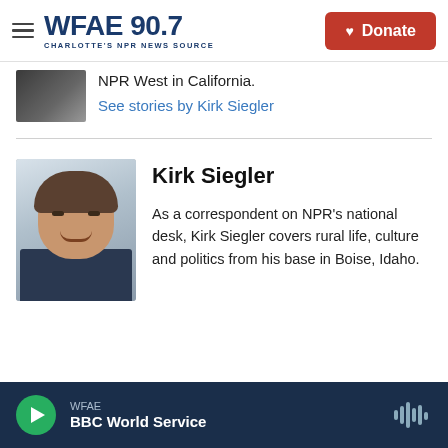WFAE 90.7 — Charlotte's NPR News Source | Donate
NPR West in California.
See stories by Kirk Siegler
Kirk Siegler
As a correspondent on NPR's national desk, Kirk Siegler covers rural life, culture and politics from his base in Boise, Idaho.
WFAE — BBC World Service